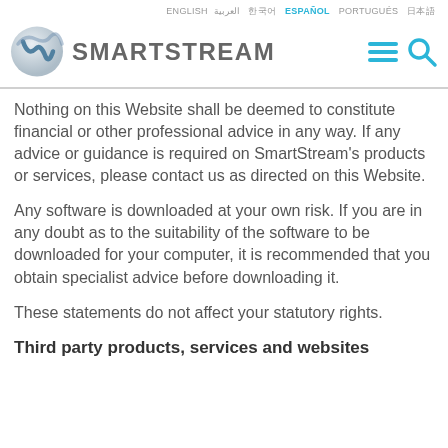ENGLISH العربية 한국어 ESPAÑOL PORTUGUÉS 日本語
[Figure (logo): SmartStream logo with stylized 'W' swirl icon and SMARTSTREAM wordmark, plus hamburger menu and search icons on the right]
Nothing on this Website shall be deemed to constitute financial or other professional advice in any way. If any advice or guidance is required on SmartStream's products or services, please contact us as directed on this Website.
Any software is downloaded at your own risk. If you are in any doubt as to the suitability of the software to be downloaded for your computer, it is recommended that you obtain specialist advice before downloading it.
These statements do not affect your statutory rights.
Third party products, services and websites